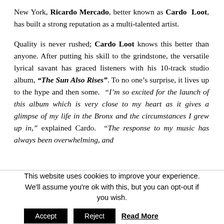New York, Ricardo Mercado, better known as Cardo Loot, has built a strong reputation as a multi-talented artist.
Quality is never rushed; Cardo Loot knows this better than anyone. After putting his skill to the grindstone, the versatile lyrical savant has graced listeners with his 10-track studio album, “The Sun Also Rises”. To no one’s surprise, it lives up to the hype and then some. “I’m so excited for the launch of this album which is very close to my heart as it gives a glimpse of my life in the Bronx and the circumstances I grew up in,” explained Cardo. “The response to my music has always been overwhelming, and
This website uses cookies to improve your experience. We'll assume you're ok with this, but you can opt-out if you wish. Accept Reject Read More